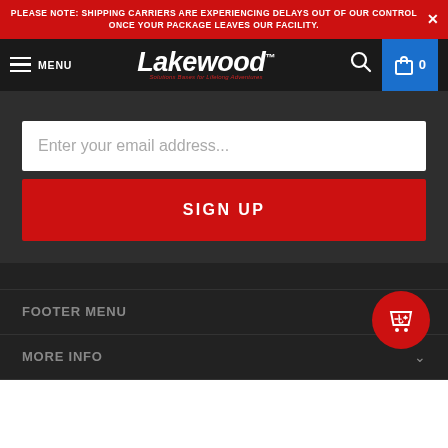PLEASE NOTE: SHIPPING CARRIERS ARE EXPERIENCING DELAYS OUT OF OUR CONTROL ONCE YOUR PACKAGE LEAVES OUR FACILITY.
[Figure (screenshot): Lakewood website header with hamburger menu, Lakewood logo, search icon, and cart button showing 0 items]
Enter your email address...
SIGN UP
FOOTER MENU
MORE INFO